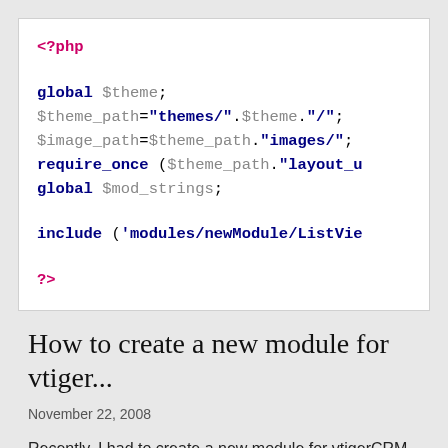[Figure (screenshot): PHP code block showing: <?php, global $theme;, $theme_path="themes/".$theme."/";, $image_path=$theme_path."images/";, require_once ($theme_path."layout_u, global $mod_strings;, include ('modules/newModule/ListView, ?>]
How to create a new module for vtiger...
November 22, 2008
Recently, I had to create a new module for vtigerCRM for my client in current working place. I did search in many places